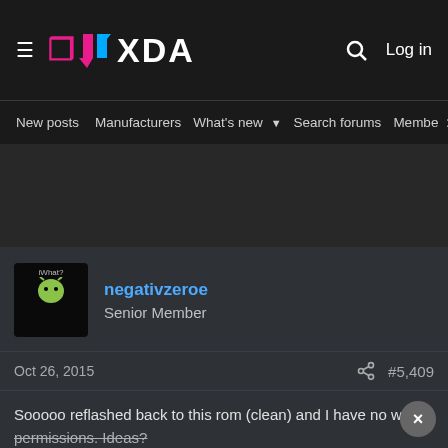XDA Developers - hamburger menu, XDA logo, search, Log in
New posts  Manufacturers  What's new  Search forums  Membe  >
[Figure (screenshot): Advertisement/blank area]
negativzeroe
Senior Member
Oct 26, 2015   #5,409
Sooooo reflashed back to this rom (clean) and I have no write permissions. Ideas?

Edit: Don't know why that happened. Reflashed and all is well. Good.